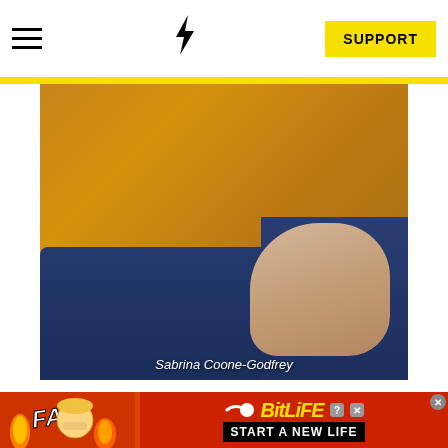Navigation bar with hamburger menu, lightning bolt icon, and SUPPORT button
[Figure (photo): Close-up photo of a person wearing a golden/mustard yellow textured blouse with decorative buttons and a circular pendant necklace, dark blue jeans, a dark wristband, and multiple rings on fingers with bright pink nail polish. Photo credit: Sabrina Coone-Godfrey]
Sabrina Coone-Godfrey
[Figure (screenshot): Advertisement banner for BitLife mobile game with red background, FAIL text, cartoon character, fire graphics, BitLife logo in yellow, and 'START A NEW LIFE' text on black bar. Close button in top right corner.]